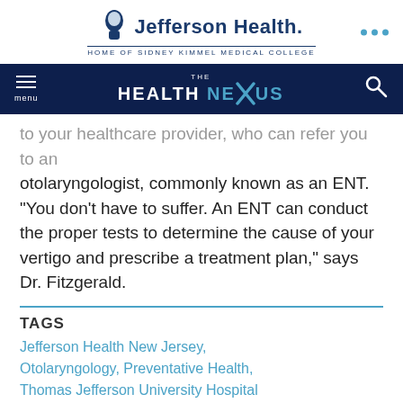[Figure (logo): Jefferson Health logo with tagline HOME OF SIDNEY KIMMEL MEDICAL COLLEGE]
THE HEALTH NEXUS
to your healthcare provider, who can refer you to an otolaryngologist, commonly known as an ENT. “You don’t have to suffer. An ENT can conduct the proper tests to determine the cause of your vertigo and prescribe a treatment plan,” says Dr. Fitzgerald.
TAGS
Jefferson Health New Jersey, Otolaryngology, Preventative Health, Thomas Jefferson University Hospital